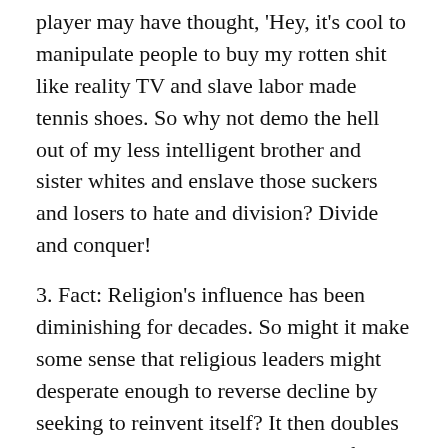player may have thought, 'Hey, it's cool to manipulate people to buy my rotten shit like reality TV and slave labor made tennis shoes. So why not demo the hell out of my less intelligent brother and sister whites and enslave those suckers and losers to hate and division? Divide and conquer!
3. Fact: Religion's influence has been diminishing for decades. So might it make some sense that religious leaders might desperate enough to reverse decline by seeking to reinvent itself? It then doubles down on the magical thinking they foster in the church every Sunday. All to recruit more believers and remain in power. See THE FAMILY on Netflix to understand the huge role religion played in putting Trump in power and Pence as his obsequious as hell VP.